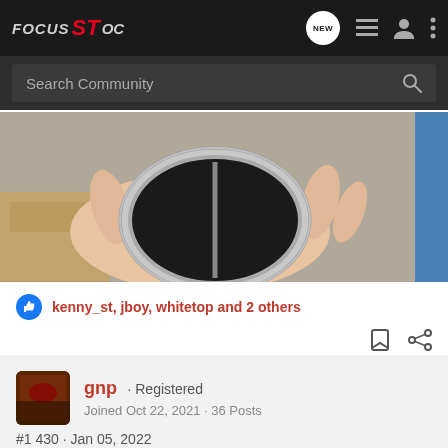Focus ST OC — navigation bar with NEW, list, user, and menu icons, plus Search Community search bar
[Figure (photo): A hand holding a dual-tip exhaust tip with a chrome/stainless outer ring and black interior, shot from above, with a cardboard box and carpet visible in the background]
kenny_st, jboy, whitetop and 2 others
gnp · Registered
Joined Oct 22, 2021 · 36 Posts